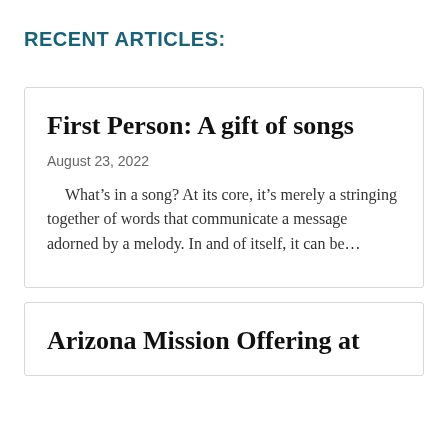RECENT ARTICLES:
First Person: A gift of songs
August 23, 2022
What’s in a song? At its core, it’s merely a stringing together of words that communicate a message adorned by a melody. In and of itself, it can be…
Arizona Mission Offering at